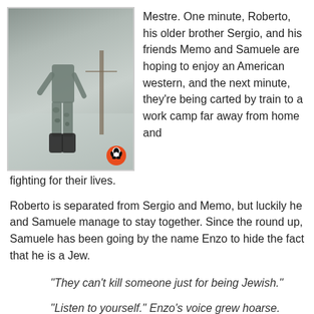[Figure (illustration): Book cover illustration showing a figure standing near a fence post in muted grey-green tones, with a small Penguin Books logo in the lower right corner and a small caption text in the middle of the cover.]
Mestre. One minute, Roberto, his older brother Sergio, and his friends Memo and Samuele are hoping to enjoy an American western, and the next minute, they're being carted by train to a work camp far away from home and fighting for their lives.
Roberto is separated from Sergio and Memo, but luckily he and Samuele manage to stay together. Since the round up, Samuele has been going by the name Enzo to hide the fact that he is a Jew.
"They can't kill someone just for being Jewish."
"Listen to yourself." Enzo's voice grew hoarse. "Your insomnia -- my nightmares -- they don't come from nowhere. They killed the boys on the